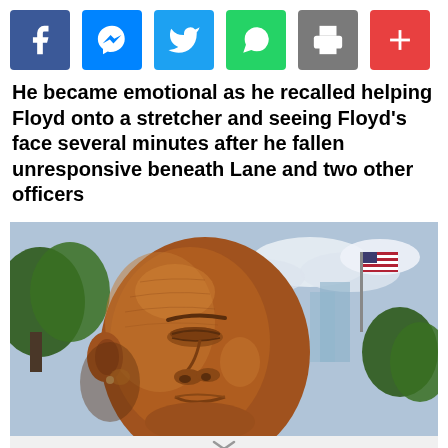[Figure (infographic): Social media sharing icons bar: Facebook (blue), Messenger (blue), Twitter (light blue), WhatsApp (green), Print (grey), More/Plus (red)]
He became emotional as he recalled helping Floyd onto a stretcher and seeing Floyd's face several minutes after he fallen unresponsive beneath Lane and two other officers
[Figure (photo): Close-up photo of a bronze/copper-colored bust sculpture of George Floyd, shown in profile facing right, with trees and an American flag visible in the background against a partly cloudy sky.]